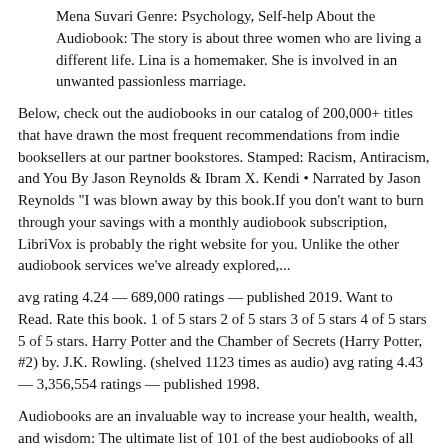Mena Suvari Genre: Psychology, Self-help About the Audiobook: The story is about three women who are living a different life. Lina is a homemaker. She is involved in an unwanted passionless marriage.
Below, check out the audiobooks in our catalog of 200,000+ titles that have drawn the most frequent recommendations from indie booksellers at our partner bookstores. Stamped: Racism, Antiracism, and You By Jason Reynolds & Ibram X. Kendi • Narrated by Jason Reynolds "I was blown away by this book.If you don't want to burn through your savings with a monthly audiobook subscription, LibriVox is probably the right website for you. Unlike the other audiobook services we've already explored,...
avg rating 4.24 — 689,000 ratings — published 2019. Want to Read. Rate this book. 1 of 5 stars 2 of 5 stars 3 of 5 stars 4 of 5 stars 5 of 5 stars. Harry Potter and the Chamber of Secrets (Harry Potter, #2) by. J.K. Rowling. (shelved 1123 times as audio) avg rating 4.43 — 3,356,554 ratings — published 1998.
Audiobooks are an invaluable way to increase your health, wealth, and wisdom: The ultimate list of 101 of the best audiobooks of all time. From historical fiction to thriller, these are must listen.
A Series of Unfortunate Events. HarperAudio. HarperAudio. $14 AT AMAZON. A Series of Unfortunate Events is a book franchise.